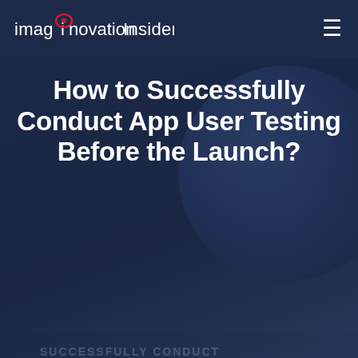imaginovation Insider
How to Successfully Conduct App User Testing Before the Launch?
Author: Pete Peranzo  October 26th, 2020
Mobile App Development
We use cookies and collect data according to the Privacy Policy to ensure that we give you the best experience on our website.